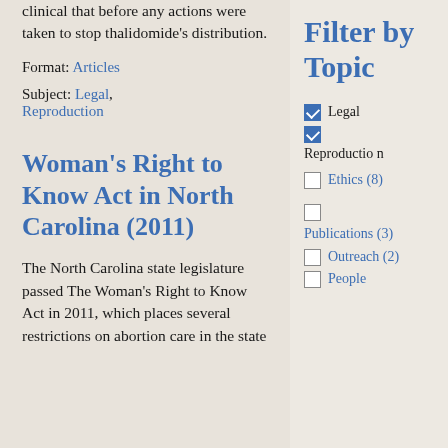clinical that before any actions were taken to stop thalidomide's distribution.
Format: Articles
Subject: Legal, Reproduction
Woman's Right to Know Act in North Carolina (2011)
The North Carolina state legislature passed The Woman's Right to Know Act in 2011, which places several restrictions on abortion care in the state
Filter by Topic
Legal (checked)
Reproduction (checked)
Ethics (8) (unchecked)
Publications (3) (unchecked)
Outreach (2) (unchecked)
People (unchecked)